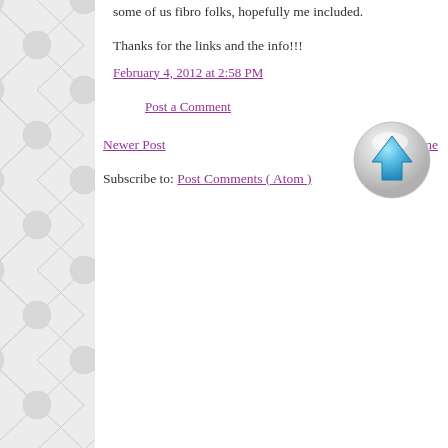some of us fibro folks, hopefully me included.
Thanks for the links and the info!!!
February 4, 2012 at 2:58 PM
[Figure (illustration): A circular glossy button with a blue upward-pointing arrow]
Post a Comment
Newer Post
Home
Subscribe to: Post Comments ( Atom )